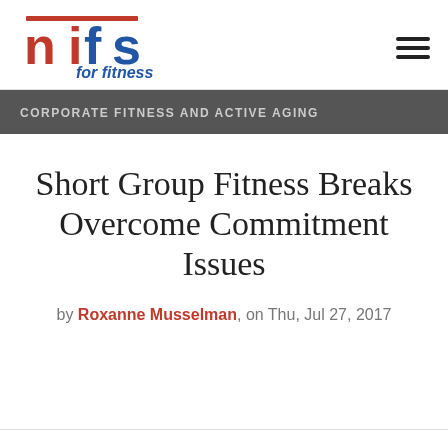[Figure (logo): NIFS for fitness logo with red and blue lettering]
CORPORATE FITNESS AND ACTIVE AGING
Short Group Fitness Breaks Overcome Commitment Issues
by Roxanne Musselman, on Thu, Jul 27, 2017